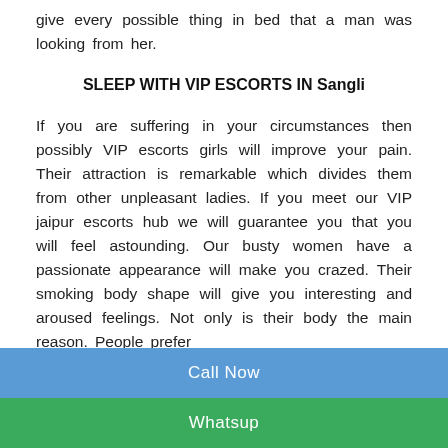give every possible thing in bed that a man was looking from her.
SLEEP WITH VIP ESCORTS IN Sangli
If you are suffering in your circumstances then possibly VIP escorts girls will improve your pain. Their attraction is remarkable which divides them from other unpleasant ladies. If you meet our VIP jaipur escorts hub we will guarantee you that you will feel astounding. Our busty women have a passionate appearance will make you crazed. Their smoking body shape will give you interesting and aroused feelings. Not only is their body the main reason. People prefer
Call Now
Whatsup